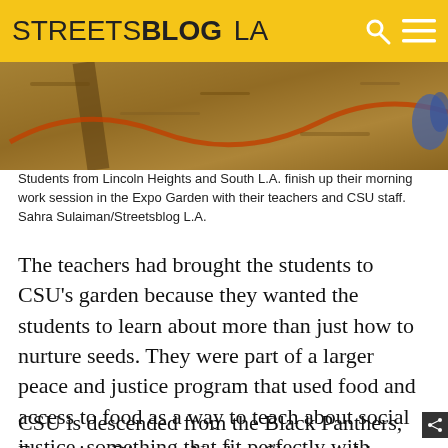STREETSBLOG LA
[Figure (photo): Aerial or close-up view of a garden plot with mulch, soil pathways, and garden hoses visible. Students from Lincoln Heights and South L.A. finishing their morning work session in the Expo Garden.]
Students from Lincoln Heights and South L.A. finish up their morning work session in the Expo Garden with their teachers and CSU staff. Sahra Sulaiman/Streetsblog L.A.
The teachers had brought the students to CSU’s garden because they wanted the students to learn about more than just how to nurture seeds. They were part of a larger peace and justice program that used food and access to food as a way to teach about social justice, something that fit perfectly with CSU’s own mission of “serving the people, body and soul.”
CSU is descended from the Black Panthers, Executive Director Neelam Sharma told me. Though that may